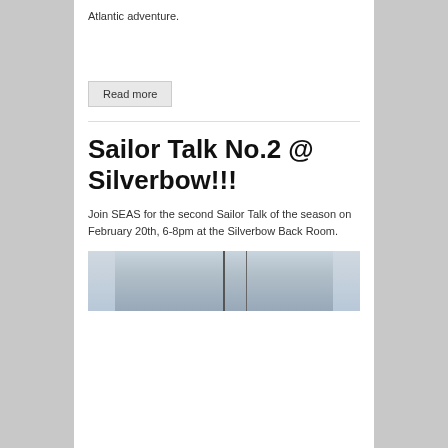Atlantic adventure.
Read more
Sailor Talk No.2 @ Silverbow!!!
Join SEAS for the second Sailor Talk of the season on February 20th, 6-8pm at the Silverbow Back Room.
[Figure (photo): Photo of sailing boat mast and rigging, light grey sky background]